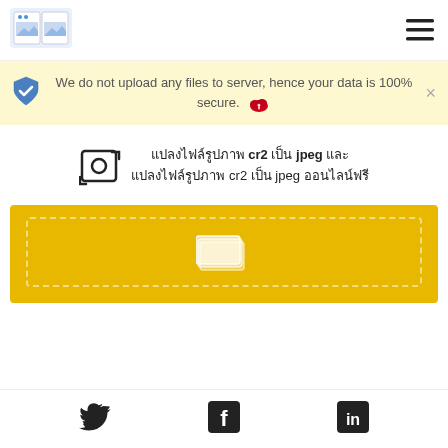[Figure (logo): App logo with two image thumbnails side by side]
[Figure (other): Hamburger menu icon (three horizontal lines)]
We do not upload any files to server, hence your data is 100% secure.
[Figure (other): Shield with checkmark security icon]
แปลงไฟล์รูปภาพ cr2 เป็น jpeg และ แปลงไฟล์รูปภาพ cr2 เป็น jpeg ออนไลน์ฟรี
[Figure (other): Convert/camera icon with circular arrows]
[Figure (other): Yellow drop zone with dashed border and stacked files icon]
[Figure (other): Twitter bird icon]
[Figure (other): Facebook f icon]
[Figure (other): LinkedIn in icon]